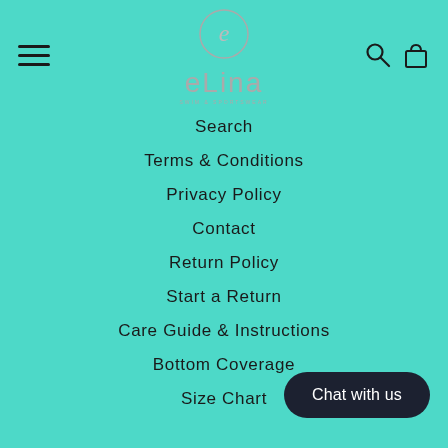[Figure (logo): eLina Swim & Sportswear logo with circle 'e' icon above stylized eLina text]
Search
Terms & Conditions
Privacy Policy
Contact
Return Policy
Start a Return
Care Guide & Instructions
Bottom Coverage
Size Chart
Chat with us